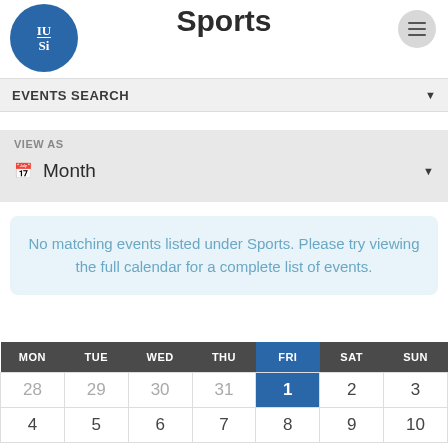Sports
[Figure (logo): USI circular blue logo with letter marks IU/Si in white]
EVENTS SEARCH
VIEW AS
Month
No matching events listed under Sports. Please try viewing the full calendar for a complete list of events.
| MON | TUE | WED | THU | FRI | SAT | SUN |
| --- | --- | --- | --- | --- | --- | --- |
| 28 | 29 | 30 | 31 | 1 | 2 | 3 |
| 4 | 5 | 6 | 7 | 8 | 9 | 10 |